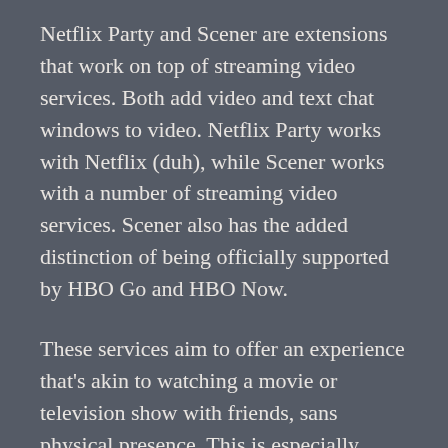Netflix Party and Scener are extensions that work on top of streaming video services. Both add video and text chat windows to video. Netflix Party works with Netflix (duh), while Scener works with a number of streaming video services. Scener also has the added distinction of being officially supported by HBO Go and HBO Now.
These services aim to offer an experience that's akin to watching a movie or television show with friends, sans physical presence. This is especially welcomed during a global pandemic, when social distancing and stay-at-home practices are strongly encouraged. Video